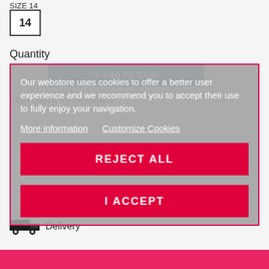SIZE  14
14
Quantity
[Figure (screenshot): Cookie consent overlay dialog on a webstore product page showing size 14 selected, quantity input, ADD TO CART button partially visible behind a grey semi-transparent modal with pink/red border containing cookie consent text and two red buttons: REJECT ALL and I ACCEPT]
Our webstore uses cookies to offer a better user experience and we recommend you to accept their use to fully enjoy your navigation.
More information  Customize Cookies
REJECT ALL
I ACCEPT
Delivery